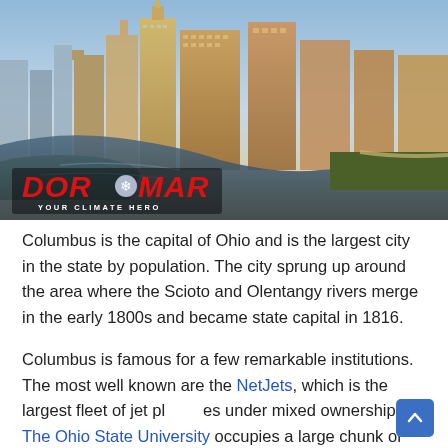[Figure (photo): Columbus, Ohio city skyline viewed from the Scioto River at golden hour, with skyscrapers reflecting in the water and green riverbanks. DOR-MAR YOUR CLIMATE HERO logo overlaid at bottom-left.]
Columbus is the capital of Ohio and is the largest city in the state by population. The city sprung up around the area where the Scioto and Olentangy rivers merge in the early 1800s and became state capital in 1816.
Columbus is famous for a few remarkable institutions. The most well known are the NetJets, which is the largest fleet of jet planes under mixed ownership. The Ohio State University occupies a large chunk of real estate just north of downtown Columbus, is